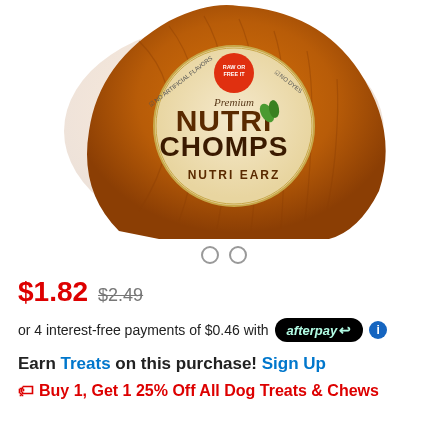[Figure (photo): Product photo of Nutri Chomps Nutri Earz dog chew treat, a large amber/brown ear-shaped chew with Nutri Chomps branded label showing 'Premium', 'No Artificial Flavors', 'No Dyes', 'Raw or Free It' logo]
○ ○
$1.82  $2.49
or 4 interest-free payments of $0.46 with afterpay ⓘ
Earn Treats on this purchase! Sign Up
🏷 Buy 1, Get 1 25% Off All Dog Treats & Chews